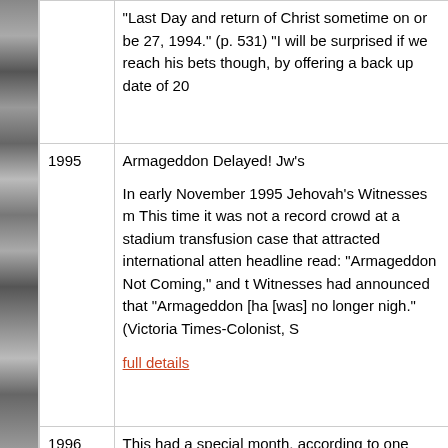| Year | Event/Description |
| --- | --- |
|  | “Last Day and return of Christ sometime on or be 27, 1994.” (p. 531) “I will be surprised if we reach his bets though, by offering a back up date of 20 |
| 1995 | Armageddon Delayed! Jw’s

In early November 1995 Jehovah’s Witnesses m This time it was not a record crowd at a stadium transfusion case that attracted international atten headline read: “Armageddon Not Coming,” and t Witnesses had announced that “Armageddon [ha [was] no longer nigh.” (Victoria Times-Colonist, S

full details |
| 1996 | This had a special month, according to one auth |